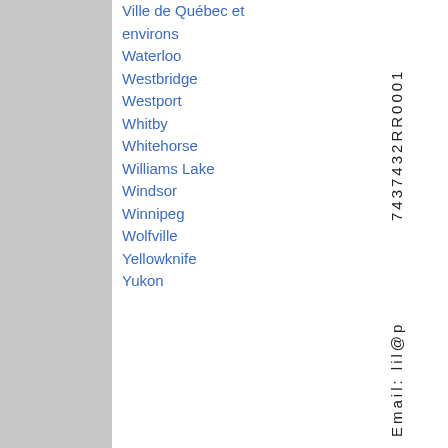Ville de Québec et environs
Waterloo
Westbridge
Westport
Whitby
Whitehorse
Williams Lake
Windsor
Winnipeg
Wolfville
Yellowknife
Yukon
7437432RR0001
Email: lil@p